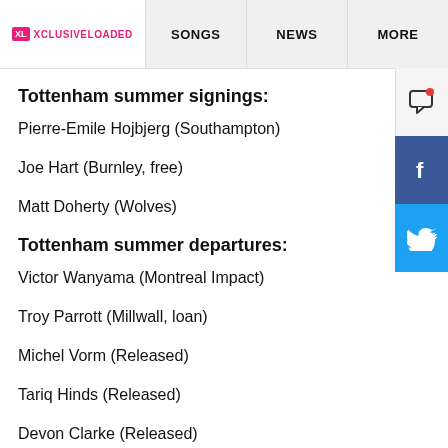XL XCLUSIVELOADED | SONGS | NEWS | MORE
Tottenham summer signings:
Pierre-Emile Hojbjerg (Southampton)
Joe Hart (Burnley, free)
Matt Doherty (Wolves)
Tottenham summer departures:
Victor Wanyama (Montreal Impact)
Troy Parrott (Millwall, loan)
Michel Vorm (Released)
Tariq Hinds (Released)
Devon Clarke (Released)